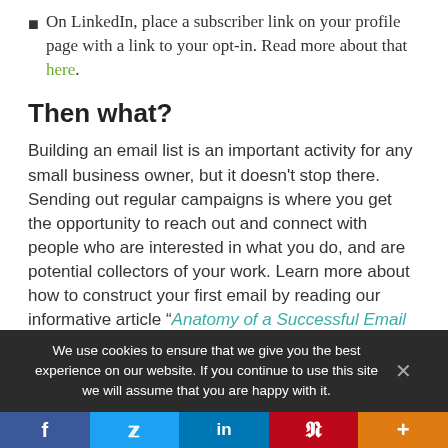On LinkedIn, place a subscriber link on your profile page with a link to your opt-in. Read more about that here.
Then what?
Building an email list is an important activity for any small business owner, but it doesn't stop there. Sending out regular campaigns is where you get the opportunity to reach out and connect with people who are interested in what you do, and are potential collectors of your work. Learn more about how to construct your first email by reading our informative article “Anatomy of a Successful Email Campaign”.
We use cookies to ensure that we give you the best experience on our website. If you continue to use this site we will assume that you are happy with it.